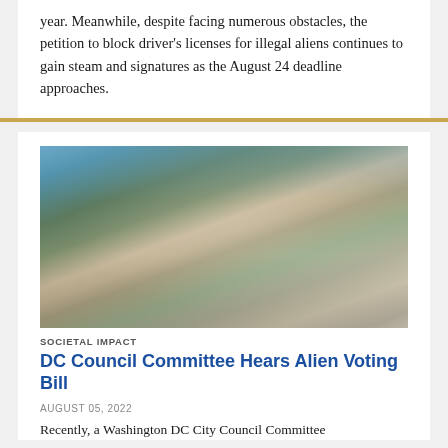year. Meanwhile, despite facing numerous obstacles, the petition to block driver's licenses for illegal aliens continues to gain steam and signatures as the August 24 deadline approaches.
[Figure (photo): Aerial photograph of Washington DC showing the US Capitol building, the National Mall, and surrounding government buildings and cityscape.]
SOCIETAL IMPACT
DC Council Committee Hears Alien Voting Bill
AUGUST 05, 2022
Recently, a Washington DC City Council Committee